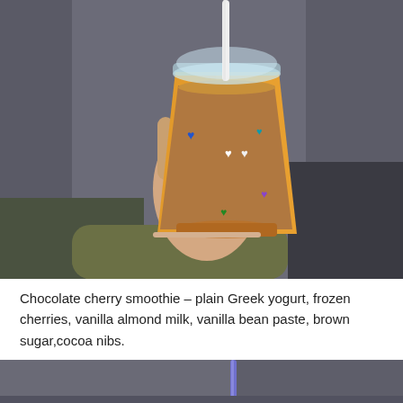[Figure (photo): A hand holding a clear plastic cup with a white straw, filled with a brown chocolate smoothie drink. The cup has colorful heart decorations (blue, white, green, purple). The person is wearing an olive green sleeve. Background shows dark grey upholstered furniture.]
Chocolate cherry smoothie – plain Greek yogurt, frozen cherries, vanilla almond milk, vanilla bean paste, brown sugar,cocoa nibs.
[Figure (photo): Partial photo of what appears to be another drink with a purple/blue straw on a dark grey surface, cropped at the bottom of the page.]